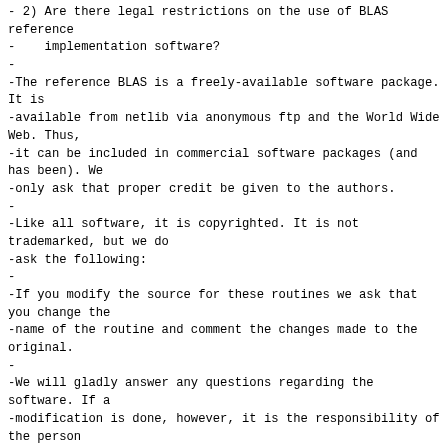- 2) Are there legal restrictions on the use of BLAS reference
-    implementation software?
-
-The reference BLAS is a freely-available software package. It is
-available from netlib via anonymous ftp and the World Wide Web. Thus,
-it can be included in commercial software packages (and has been). We
-only ask that proper credit be given to the authors.
-
-Like all software, it is copyrighted. It is not trademarked, but we do
-ask the following:
-
-If you modify the source for these routines we ask that you change the
-name of the routine and comment the changes made to the original.
-
-We will gladly answer any questions regarding the software. If a
-modification is done, however, it is the responsibility of the person
-who modified the routine to provide support.

Copied: lapack/repos/extra-x86_64/LICENSE.blas (from rev 275773, lapack/trunk/LICENSE.blas)
================================================================